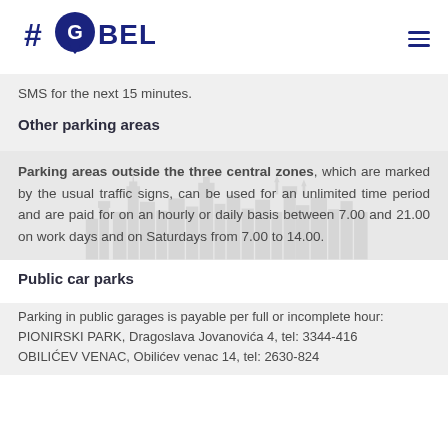#Go Belgrade
SMS for the next 15 minutes.
Other parking areas
Parking areas outside the three central zones, which are marked by the usual traffic signs, can be used for an unlimited time period and are paid for on an hourly or daily basis between 7.00 and 21.00 on work days and on Saturdays from 7.00 to 14.00.
Public car parks
Parking in public garages is payable per full or incomplete hour:
PIONIRSKI PARK, Dragoslava Jovanovića 4, tel: 3344-416
OBILIĆEV VENAC, Obilićev venac 14, tel: 2630-824